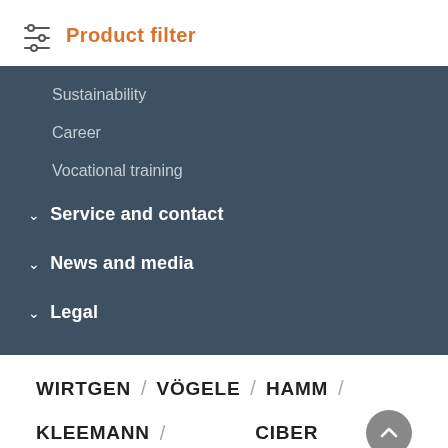Product filter
Sustainability
Career
Vocational training
Service and contact
News and media
Legal
WIRTGEN / VÖGELE / HAMM / KLEEMANN / CIBER